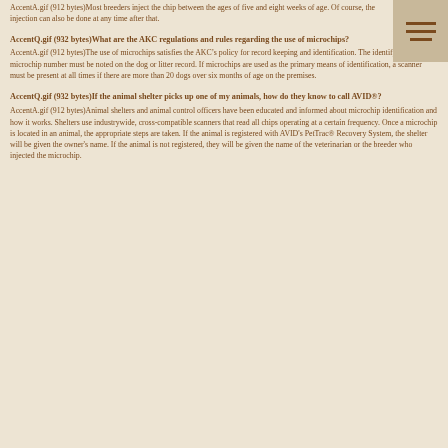AccentA.gif (912 bytes)Most breeders inject the chip between the ages of five and eight weeks of age. Of course, the injection can also be done at any time after that.
AccentQ.gif (932 bytes)What are the AKC regulations and rules regarding the use of microchips?
AccentA.gif (912 bytes)The use of microchips satisfies the AKC’s policy for record keeping and identification. The identifying microchip number must be noted on the dog or litter record. If microchips are used as the primary means of identification, a scanner must be present at all times if there are more than 20 dogs over six months of age on the premises.
AccentQ.gif (932 bytes)If the animal shelter picks up one of my animals, how do they know to call AVID®?
AccentA.gif (912 bytes)Animal shelters and animal control officers have been educated and informed about microchip identification and how it works. Shelters use industrywide, cross-compatible scanners that read all chips operating at a certain frequency. Once a microchip is located in an animal, the appropriate steps are taken. If the animal is registered with AVID's PetTrac® Recovery System, the shelter will be given the owner's name. If the animal is not registered, they will be given the name of the veterinarian or the breeder who injected the microchip.